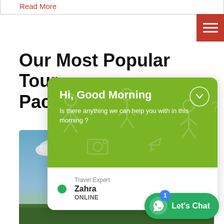Read More
[Figure (screenshot): Hamburger menu button with red background and three white horizontal lines]
Our Most Popular Tour Pac…
[Figure (screenshot): Chat widget popup with green header showing 'Hi, Good Morning' greeting and 'Is there anything we can help you with in this morning ?' text. Below is agent info: Travel Expert Zahra, ONLINE with green dot.]
[Figure (photo): Photo of people celebrating, waving Indian flags against a blue sky background]
[Figure (screenshot): WhatsApp Let's Chat button in green with notification badge showing 1]